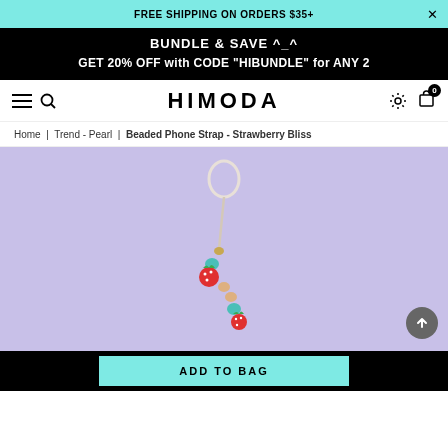FREE SHIPPING ON ORDERS $35+
BUNDLE & SAVE ^_^
GET 20% OFF with CODE "HIBUNDLE" for ANY 2
HIMODA
Home | Trend - Pearl | Beaded Phone Strap - Strawberry Bliss
[Figure (photo): Beaded phone strap with strawberry charm on light purple background]
ADD TO BAG